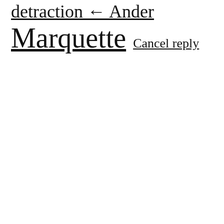detraction ← Ander
Marquette   Cancel reply